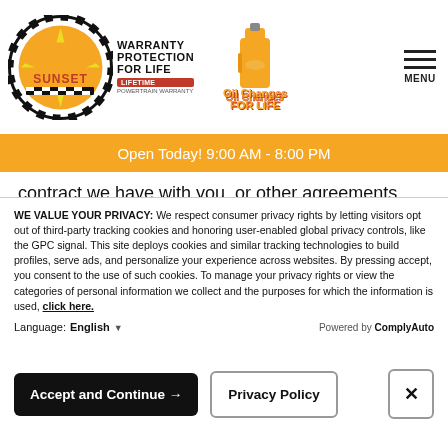Sunset Dealership — Warranty Protection For Life — Oil Changes For Life — MENU
Open Today! 9:00 AM - 8:00 PM
contract we have with you, or other agreements, including for billing and collection purposes.
If our dealership has a good faith belief that disclosure is appropriate to protect the rights, property, or safety of our dealership, our customers, or others. This may include exchanging information with other companies and organizations for the purposes of fraud protection and credit risk reduction.
WE VALUE YOUR PRIVACY: We respect consumer privacy rights by letting visitors opt out of third-party tracking cookies and honoring user-enabled global privacy controls, like the GPC signal. This site deploys cookies and similar tracking technologies to build profiles, serve ads, and personalize your experience across websites. By pressing accept, you consent to the use of such cookies. To manage your privacy rights or view the categories of personal information we collect and the purposes for which the information is used, click here.
Language: English ▼ Powered by ComplyAuto
Accept and Continue → | Privacy Policy | ✕